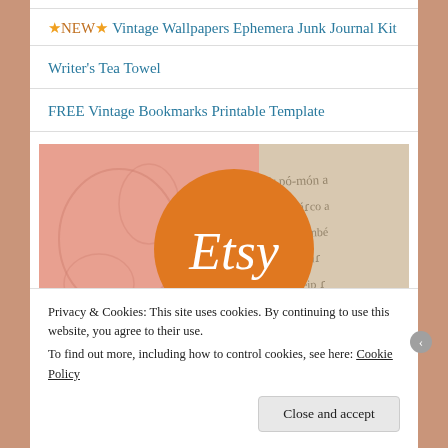★NEW★ Vintage Wallpapers Ephemera Junk Journal Kit
Writer's Tea Towel
FREE Vintage Bookmarks Printable Template
[Figure (logo): Etsy shop banner: salmon/pink vintage wallpaper background with orange circle containing 'Etsy' in white serif text, and aged manuscript text visible on right side]
Privacy & Cookies: This site uses cookies. By continuing to use this website, you agree to their use.
To find out more, including how to control cookies, see here: Cookie Policy
Close and accept